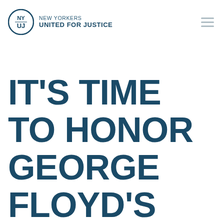New Yorkers United for Justice
IT'S TIME TO HONOR GEORGE FLOYD'S LIFE, BY REPEALING 50-A